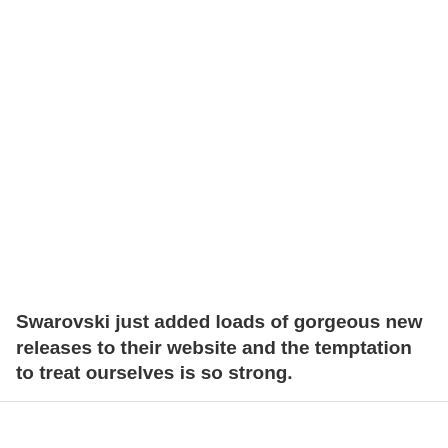Swarovski just added loads of gorgeous new releases to their website and the temptation to treat ourselves is so strong.